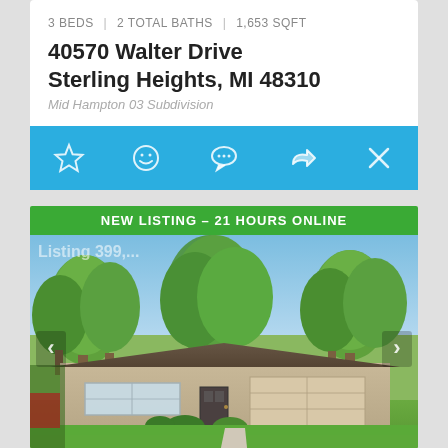3 BEDS | 2 TOTAL BATHS | 1,653 SQFT
40570 Walter Drive
Sterling Heights, MI 48310
Mid Hampton 03 Subdivision
[Figure (screenshot): Action bar with star, smiley face, chat bubble, share arrow, and X icons on blue background]
NEW LISTING - 21 HOURS ONLINE
[Figure (photo): Exterior photo of a single-story ranch home at 40570 Walter Drive, Sterling Heights MI. Tan/beige siding with brown roof, two-car garage, landscaped front yard with green trees and blue sky.]